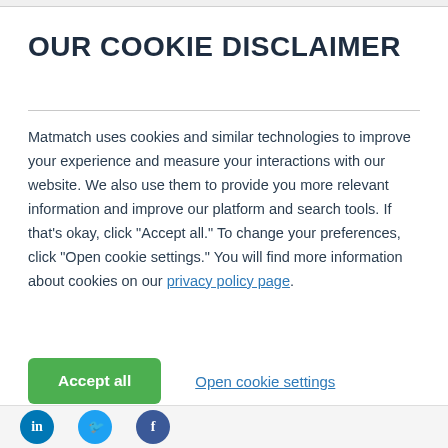OUR COOKIE DISCLAIMER
Matmatch uses cookies and similar technologies to improve your experience and measure your interactions with our website. We also use them to provide you more relevant information and improve our platform and search tools. If that’s okay, click “Accept all.” To change your preferences, click “Open cookie settings.” You will find more information about cookies on our privacy policy page.
Accept all
Open cookie settings